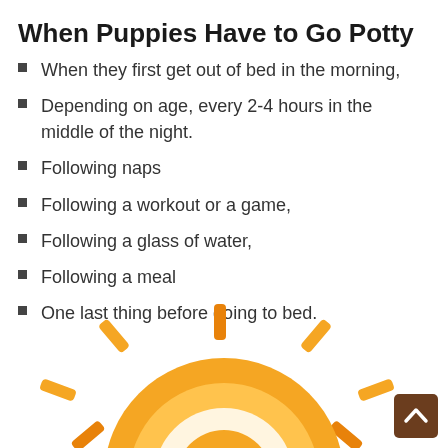When Puppies Have to Go Potty
When they first get out of bed in the morning,
Depending on age, every 2-4 hours in the middle of the night.
Following naps
Following a workout or a game,
Following a glass of water,
Following a meal
One last thing before going to bed.
[Figure (illustration): Partial illustration of an orange and yellow sun/clock graphic at bottom of page, with a brown back-to-top button in the bottom right corner.]